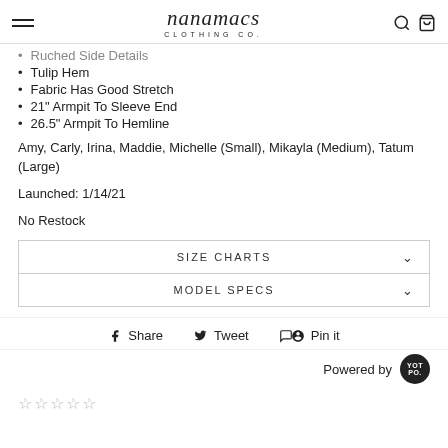nanamacs CLOTHING CO.
Ruched Side Details
Tulip Hem
Fabric Has Good Stretch
21" Armpit To Sleeve End
26.5" Armpit To Hemline
Amy, Carly, Irina, Maddie, Michelle (Small), Mikayla (Medium), Tatum (Large)
Launched: 1/14/21
No Restock
SIZE CHARTS
MODEL SPECS
Share   Tweet   Pin it
Powered by
★★★★★